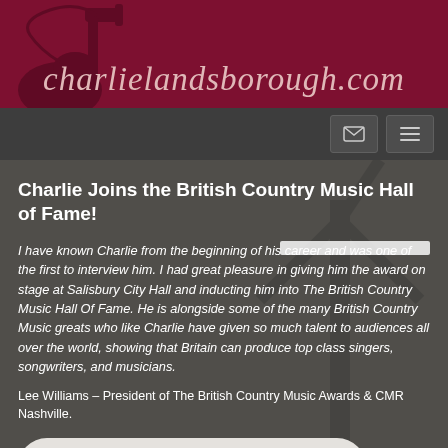charlielandsborough.com
Charlie Joins the British Country Music Hall of Fame!
I have known Charlie from the beginning of his career and was one of the first to interview him. I had great pleasure in giving him the award on stage at Salisbury City Hall and inducting him into The British Country Music Hall Of Fame. He is alongside some of the many British Country Music greats who like Charlie have given so much talent to audiences all over the world, showing that Britain can produce top class singers, songwriters, and musicians.
Lee Williams – President of The British Country Music Awards & CMR Nashville.
[Figure (other): Audio player widget showing 0:00 / 0:00 with play button, progress bar, volume icon, and more options icon]